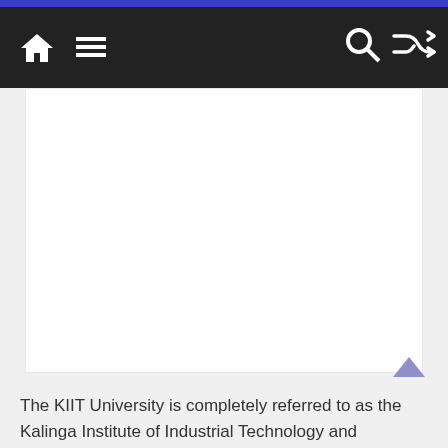Navigation bar with home icon, menu icon, search icon, shuffle icon
[Figure (other): Large empty white content area representing an advertisement or image placeholder]
The KIIT University is completely referred to as the Kalinga Institute of Industrial Technology and